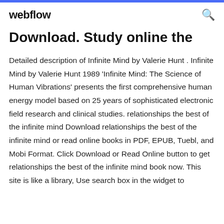webflow
Download. Study online the
Detailed description of Infinite Mind by Valerie Hunt . Infinite Mind by Valerie Hunt 1989 'Infinite Mind: The Science of Human Vibrations' presents the first comprehensive human energy model based on 25 years of sophisticated electronic field research and clinical studies. relationships the best of the infinite mind Download relationships the best of the infinite mind or read online books in PDF, EPUB, Tuebl, and Mobi Format. Click Download or Read Online button to get relationships the best of the infinite mind book now. This site is like a library, Use search box in the widget to